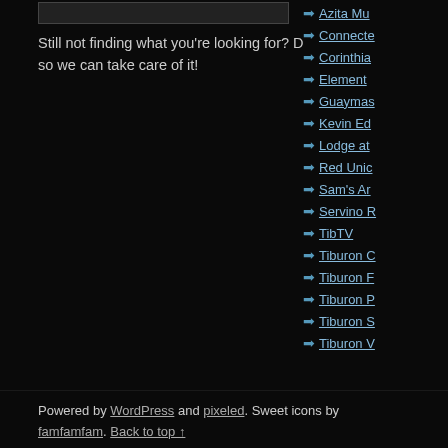Still not finding what you're looking for? Drop a comment on a post or contact us so we can take care of it!
Azita Mu...
Connecte...
Corinthia...
Element...
Guaymas...
Kevin Ed...
Lodge at...
Red Unic...
Sam's A...
Servino ...
TibTV
Tiburon C...
Tiburon F...
Tiburon P...
Tiburon S...
Tiburon V...
Powered by WordPress and pixeled. Sweet icons by famfamfam. Back to top ↑ Produced by Kevin Edwards of Connected Social Media